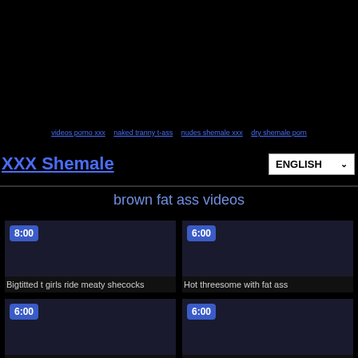XXX Shemale | ENGLISH
brown fat ass videos
[Figure (screenshot): Video thumbnail with duration 8:00 - Bigtitted t girls ride meaty shecocks]
Bigtitted t girls ride meaty shecocks
[Figure (screenshot): Video thumbnail with duration 6:00 - Hot threesome with fat ass]
Hot threesome with fat ass
[Figure (screenshot): Video thumbnail with duration 6:00 - Fat ass tranny agatha menezes]
Fat ass tranny agatha menezes
[Figure (screenshot): Video thumbnail with duration 6:00 - Sunburnt shemale doing fat ass]
Sunburnt shemale doing fat ass
[Figure (screenshot): Video thumbnail with duration 3:00 - Me breeding white shemale Ts with]
Me breeding white shemale Ts with
[Figure (screenshot): Video thumbnail with duration 2:00 - My jiggling fat ass wiggling to music]
My jiggling fat ass wiggling to music